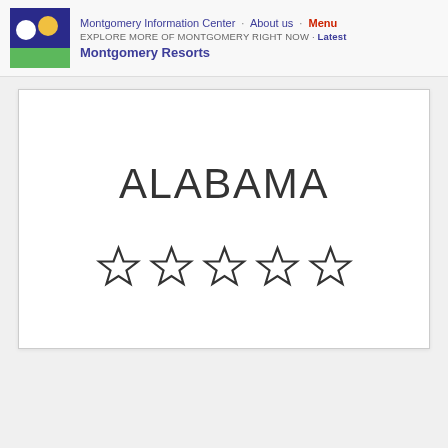Montgomery Information Center · About us · Menu
EXPLORE MORE OF MONTGOMERY RIGHT NOW · Latest
Montgomery Resorts
[Figure (other): White card/panel with the text ALABAMA in large letters and five empty star rating icons below it]
ALABAMA
☆ ☆ ☆ ☆ ☆ (five empty stars rating)